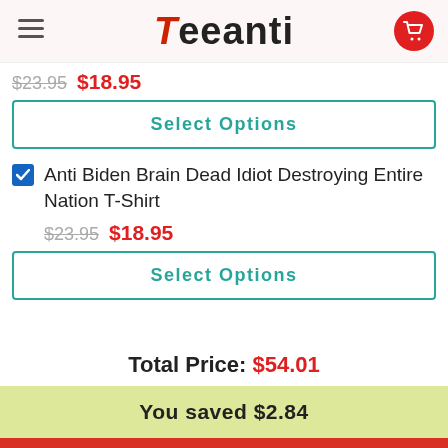Teeanti
$23.95  $18.95
Select Options
Anti Biden Brain Dead Idiot Destroying Entire Nation T-Shirt
$23.95  $18.95
Select Options
Total Price: $54.01
You saved $2.84
Add To Cart